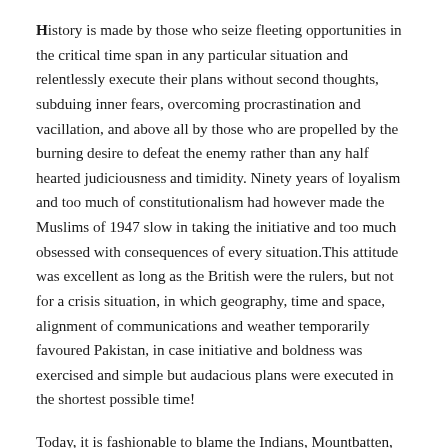History is made by those who seize fleeting opportunities in the critical time span in any particular situation and relentlessly execute their plans without second thoughts, subduing inner fears, overcoming procrastination and vacillation, and above all by those who are propelled by the burning desire to defeat the enemy rather than any half hearted judiciousness and timidity. Ninety years of loyalism and too much of constitutionalism had however made the Muslims of 1947 slow in taking the initiative and too much obsessed with consequences of every situation.This attitude was excellent as long as the British were the rulers, but not for a crisis situation, in which geography, time and space, alignment of communications and weather temporarily favoured Pakistan, in case initiative and boldness was exercised and simple but audacious plans were executed in the shortest possible time!
Today, it is fashionable to blame the Indians, Mountbatten, Gracey etc as far as the 1947-48 War is concerned. A dispassionate study of the events of 1947-48 clearly proves